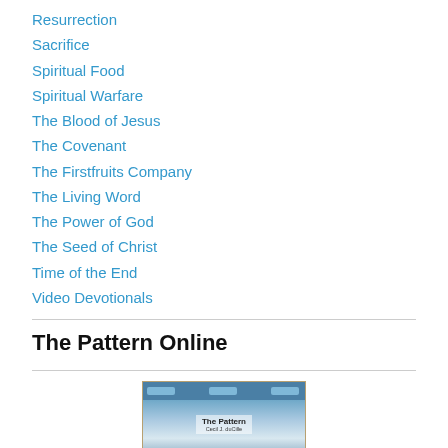Resurrection
Sacrifice
Spiritual Food
Spiritual Warfare
The Blood of Jesus
The Covenant
The Firstfruits Company
The Living Word
The Power of God
The Seed of Christ
Time of the End
Video Devotionals
The Pattern Online
[Figure (screenshot): Screenshot of The Pattern Online website showing the book cover of 'The Pattern' by Cecil J. duCille with a winter/icy landscape background.]